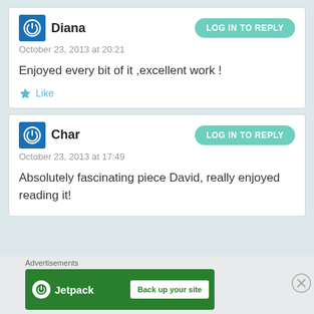Diana
October 23, 2013 at 20:21
Enjoyed every bit of it ,excellent work !
Like
Char
October 23, 2013 at 17:49
Absolutely fascinating piece David, really enjoyed reading it!
Advertisements
[Figure (logo): Jetpack advertisement banner with 'Back up your site' button]